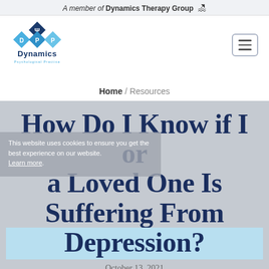A member of Dynamics Therapy Group
[Figure (logo): Dynamics Psychological Practice logo with diamond shapes in blue containing letters D, P, P and Greek psi symbol]
Home / Resources
How Do I Know if I or a Loved One Is Suffering From Depression?
This website uses cookies to ensure you get the best experience on our website. Learn more.
October 13, 2021